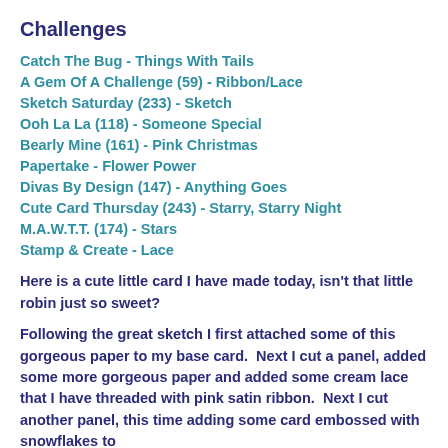Challenges
Catch The Bug - Things With Tails
A Gem Of A Challenge (59) - Ribbon/Lace
Sketch Saturday (233) - Sketch
Ooh La La (118) - Someone Special
Bearly Mine (161) - Pink Christmas
Papertake - Flower Power
Divas By Design (147) - Anything Goes
Cute Card Thursday (243) - Starry, Starry Night
M.A.W.T.T. (174) - Stars
Stamp & Create - Lace
Here is a cute little card I have made today, isn't that little robin just so sweet?
Following the great sketch I first attached some of this gorgeous paper to my base card.  Next I cut a panel, added some more gorgeous paper and added some cream lace that I have threaded with pink satin ribbon.  Next I cut another panel, this time adding some card embossed with snowflakes to